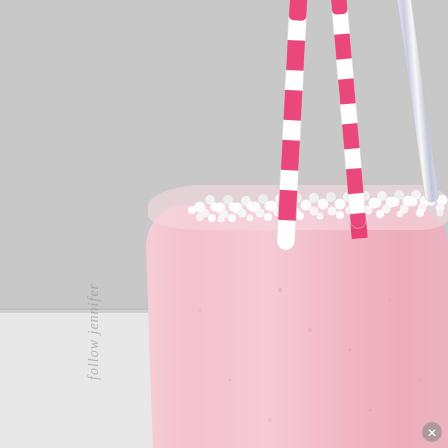[Figure (photo): Close-up photo of a pink strawberry milkshake in a clear glass. The rim of the glass is decorated with white sugar pearl sprinkles. Two pink and white striped paper straws and a glittery silver straw are inserted into the drink. The background is a light gray/white. A cursive watermark text reading 'follow jennifer' appears on the lower left side. A small circled X icon appears in the bottom right corner.]